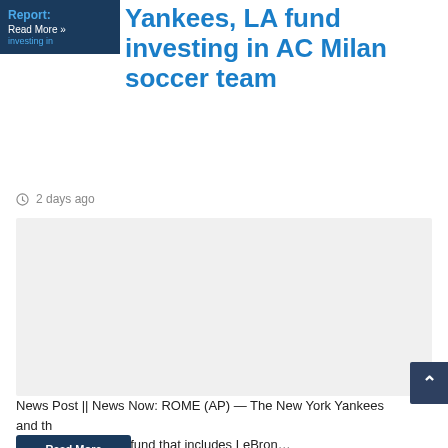Report: Yankees, LA fund investing in AC Milan soccer team
2 days ago
[Figure (photo): Gray placeholder image block for article photo]
News Post || News Now: ROME (AP) — The New York Yankees and the Los Angeles-based fund that includes LeBron…
Read More